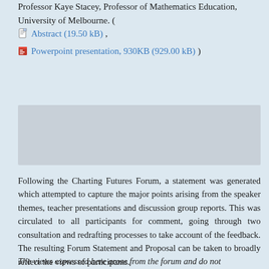Professor Kaye Stacey, Professor of Mathematics Education, University of Melbourne. ( Abstract (19.50 kB), Powerpoint presentation, 930KB (929.00 kB))
[Figure (other): Gray placeholder rectangle representing an embedded image or media block]
Following the Charting Futures Forum, a statement was generated which attempted to capture the major points arising from the speaker themes, teacher presentations and discussion group reports. This was circulated to all participants for comment, going through two consultation and redrafting processes to take account of the feedback. The resulting Forum Statement and Proposal can be taken to broadly reflect the views of participants.
The views expressed here arose from the forum and do not